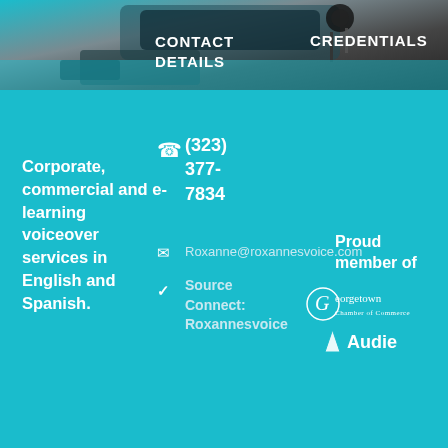[Figure (photo): Partial photo of audio/recording equipment on a desk, dark tones with teal overlay at top of page]
CONTACT DETAILS
CREDENTIALS
Corporate, commercial and e-learning voiceover services in English and Spanish.
(323) 377-7834
Roxanne@roxannesvoice.com
Source Connect: Roxannesvoice
Proud member of
[Figure (logo): Georgetown Chamber of Commerce logo in white]
[Figure (logo): Audie logo in white with triangle icon]